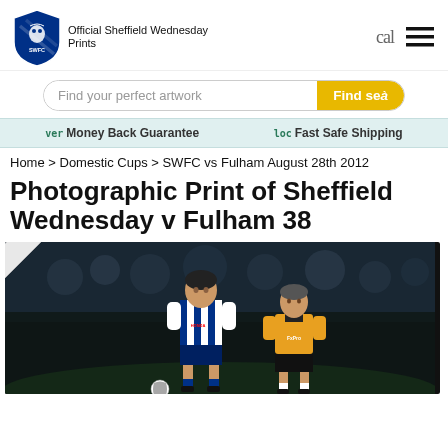[Figure (logo): Sheffield Wednesday FC official SWFC crest logo in blue and white]
Official Sheffield Wednesday Prints
cal
[Figure (illustration): Hamburger menu icon (three horizontal lines)]
Find your perfect artwork
Find seà
ver Money Back Guarantee
loc Fast Safe Shipping
Home > Domestic Cups > SWFC vs Fulham August 28th 2012
Photographic Print of Sheffield Wednesday v Fulham 38
[Figure (photo): Football match photo showing Sheffield Wednesday player in blue and white striped kit competing against an opposing player in orange/yellow kit on a dark evening match at Hillsborough stadium.]